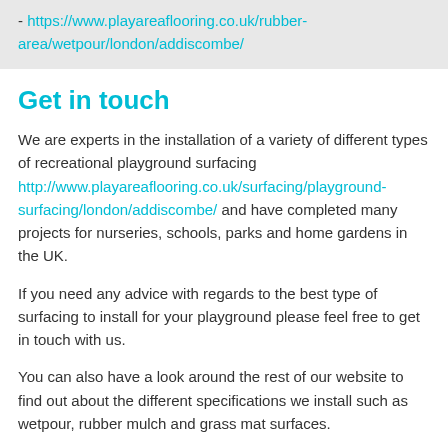- https://www.playareaflooring.co.uk/rubber-area/wetpour/london/addiscombe/
Get in touch
We are experts in the installation of a variety of different types of recreational playground surfacing http://www.playareaflooring.co.uk/surfacing/playground-surfacing/london/addiscombe/ and have completed many projects for nurseries, schools, parks and home gardens in the UK.
If you need any advice with regards to the best type of surfacing to install for your playground please feel free to get in touch with us.
You can also have a look around the rest of our website to find out about the different specifications we install such as wetpour, rubber mulch and grass mat surfaces.
Feel free to fill in our contact form if you're in need of an idea on costs to install bonded mulch to a playground surface and we'll send you over some product information regarding the installation of bonded rubber mulch in Addiscombe CR0 7 with...